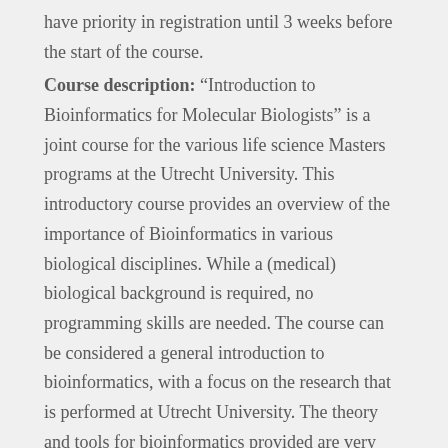have priority in registration until 3 weeks before the start of the course.
Course description: “Introduction to Bioinformatics for Molecular Biologists” is a joint course for the various life science Masters programs at the Utrecht University. This introductory course provides an overview of the importance of Bioinformatics in various biological disciplines. While a (medical) biological background is required, no programming skills are needed. The course can be considered a general introduction to bioinformatics, with a focus on the research that is performed at Utrecht University. The theory and tools for bioinformatics provided are very useful for any life science researcher. Furthermore, follow-up courses are organized